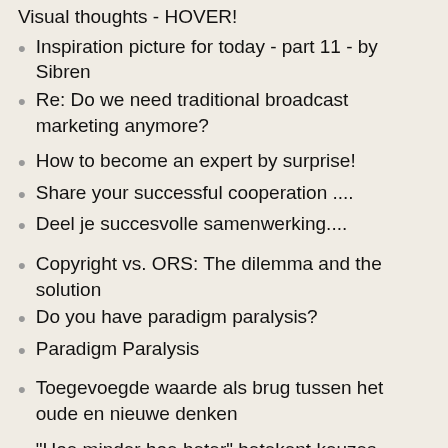Visual thoughts - HOVER!
Inspiration picture for today - part 11 - by Sibren
Re: Do we need traditional broadcast marketing anymore?
How to become an expert by surprise!
Share your successful cooperation ....
Deel je succesvolle samenwerking....
Copyright vs. ORS: The dilemma and the solution
Do you have paradigm paralysis?
Paradigm Paralysis
Toegevoegde waarde als brug tussen het oude en nieuwe denken
"Hoe minder hoe beter" betekent keuzes maken